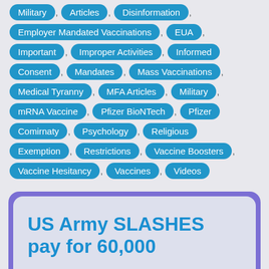Military , Articles , Disinformation , Employer Mandated Vaccinations , EUA , Important , Improper Activities , Informed Consent , Mandates , Mass Vaccinations , Medical Tyranny , MFA Articles , Military , mRNA Vaccine , Pfizer BioNTech , Pfizer Comirnaty , Psychology , Religious Exemption , Restrictions , Vaccine Boosters , Vaccine Hesitancy , Vaccines , Videos
US Army SLASHES pay for 60,000